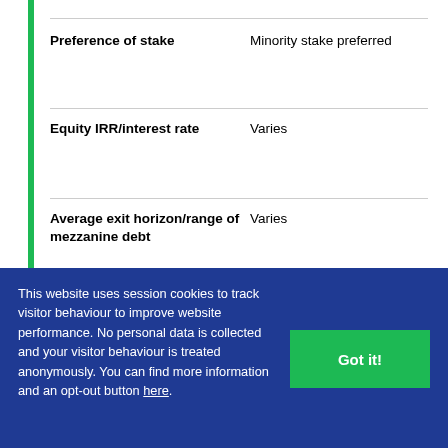| Field | Value |
| --- | --- |
| Preference of stake | Minority stake preferred |
| Equity IRR/interest rate | Varies |
| Average exit horizon/range of mezzanine debt | Varies |
This website uses session cookies to track visitor behaviour to improve website performance. No personal data is collected and your visitor behaviour is treated anonymously. You can find more information and an opt-out button here.